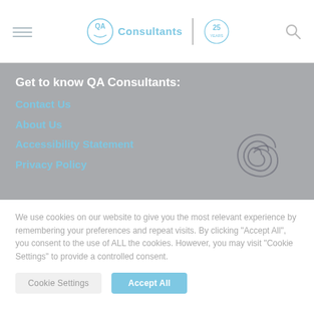[Figure (logo): QA Consultants logo with circular Q/A emblem, the word 'Consultants', a vertical divider, and a 25 Years badge]
Get to know QA Consultants:
Contact Us
About Us
Accessibility Statement
Privacy Policy
We use cookies on our website to give you the most relevant experience by remembering your preferences and repeat visits. By clicking “Accept All”, you consent to the use of ALL the cookies. However, you may visit “Cookie Settings” to provide a controlled consent.